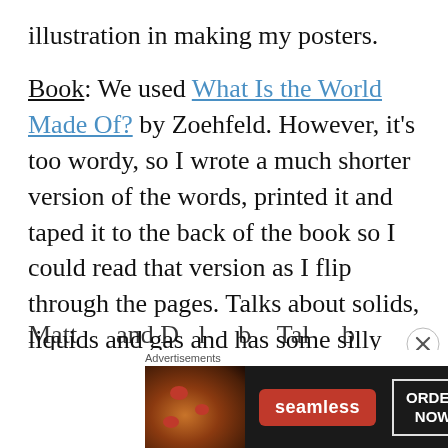illustration in making my posters.
Book: We used What Is the World Made Of? by Zoehfeld. However, it's too wordy, so I wrote a much shorter version of the words, printed it and taped it to the back of the book so I could read that version as I flip through the pages. Talks about solids, liquids and gas and has some silly ideas: “have you ever seen anyone walk through a wall?” or “have you used milk for socks?”
Matt...and Dool...by...Talks about...it...
[Figure (screenshot): Seamless food delivery advertisement banner showing pizza image on left, Seamless red logo badge in center, and ORDER NOW button on right with dark background]